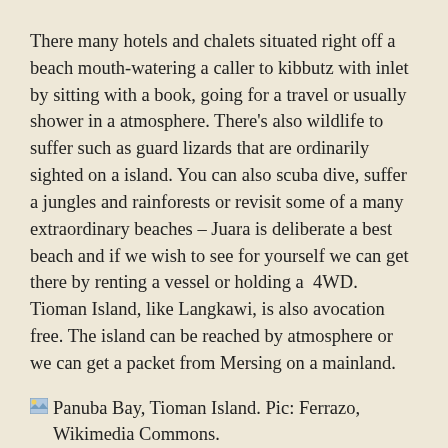There many hotels and chalets situated right off a beach mouth-watering a caller to kibbutz with inlet by sitting with a book, going for a travel or usually shower in a atmosphere. There's also wildlife to suffer such as guard lizards that are ordinarily sighted on a island. You can also scuba dive, suffer a jungles and rainforests or revisit some of a many extraordinary beaches – Juara is deliberate a best beach and if we wish to see for yourself we can get there by renting a vessel or holding a  4WD. Tioman Island, like Langkawi, is also avocation free. The island can be reached by atmosphere or we can get a packet from Mersing on a mainland.
Panuba Bay, Tioman Island. Pic: Ferrazo, Wikimedia Commons.